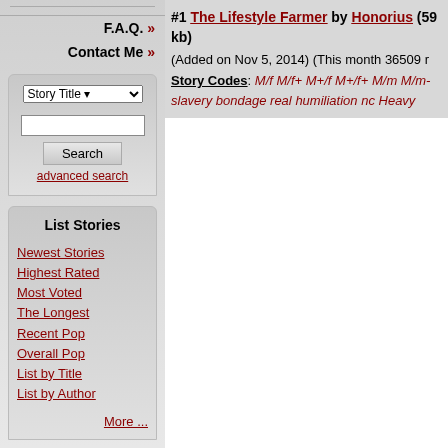F.A.Q. »
Contact Me »
Story Title ▾ [search box] Search advanced search
List Stories
Newest Stories
Highest Rated
Most Voted
The Longest
Recent Pop
Overall Pop
List by Title
List by Author
More ...
#1 The Lifestyle Farmer by Honorius (59 kb)
(Added on Nov 5, 2014) (This month 36509 r...
Story Codes: M/f M/f+ M+/f M+/f+ M/m M/m- slavery bondage real humiliation nc Heavy